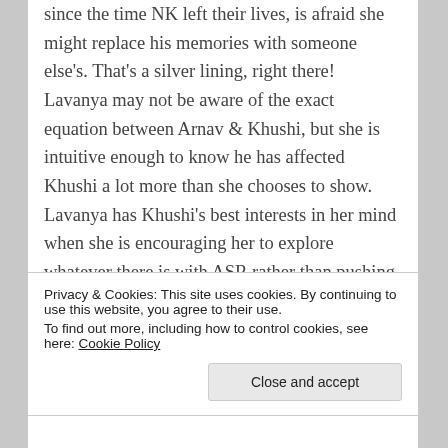since the time NK left their lives, is afraid she might replace his memories with someone else's. That's a silver lining, right there! Lavanya may not be aware of the exact equation between Arnav & Khushi, but she is intuitive enough to know he has affected Khushi a lot more than she chooses to show. Lavanya has Khushi's best interests in her mind when she is encouraging her to explore whatever there is with ASR rather than pushing Khushi towards her BIL. Also, I find it
Privacy & Cookies: This site uses cookies. By continuing to use this website, you agree to their use.
To find out more, including how to control cookies, see here: Cookie Policy
Close and accept